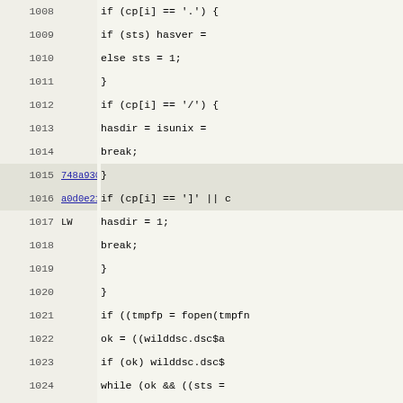[Figure (screenshot): Source code diff/annotated view showing lines 1008-1039+ of C code with line annotations (748a9306, a0d0e21e, LW) in the left gutter. Code shows conditionals and file operations including if/else, break, fopen, wilddsc, rstr, hasdir, isunix, begin, end logic.]